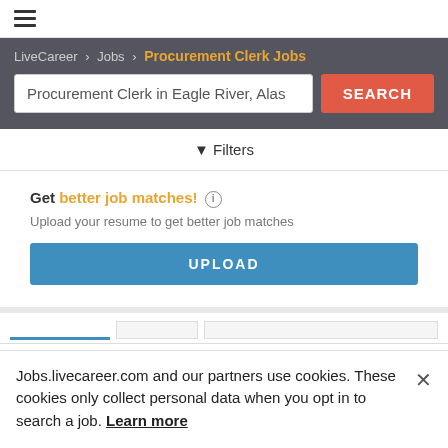≡ (hamburger menu icon)
LiveCareer > Jobs > Procurement Clerk Jobs
Procurement Clerk in Eagle River, Alas
SEARCH
▼ Filters
Get better job matches! ⓘ
Upload your resume to get better job matches
UPLOAD
Jobs.livecareer.com and our partners use cookies. These cookies only collect personal data when you opt in to search a job. Learn more